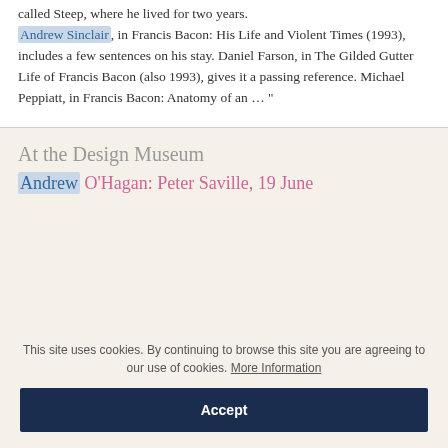called Steep, where he lived for two years. Andrew Sinclair, in Francis Bacon: His Life and Violent Times (1993), includes a few sentences on his stay. Daniel Farson, in The Gilded Gutter Life of Francis Bacon (also 1993), gives it a passing reference. Michael Peppiatt, in Francis Bacon: Anatomy of an …"
At the Design Museum
Andrew O'Hagan: Peter Saville, 19 June
This site uses cookies. By continuing to browse this site you are agreeing to our use of cookies. More Information
Accept